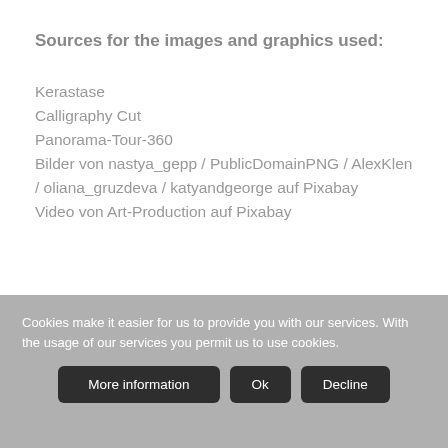Sources for the images and graphics used:
Kerastase
Calligraphy Cut
Panorama-Tour-360
Bilder von nastya_gepp / PublicDomainPNG / AlexKlen / oliana_gruzdeva / katyandgeorge auf Pixabay
Video von Art-Production auf Pixabay
Cookies make it easier for us to provide you with our services. With the usage of our services you permit us to use cookies.
More information  Ok  Decline